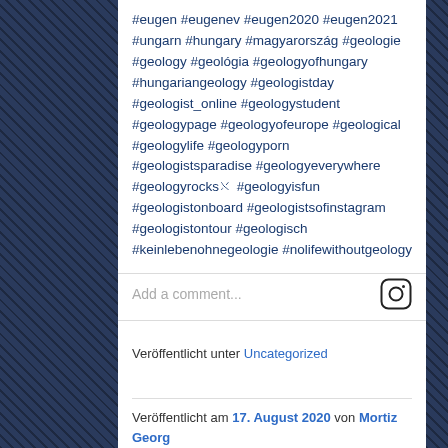#eugen #eugenev #eugen2020 #eugen2021 #ungarn #hungary #magyarország #geologie #geology #geológia #geologyofhungary #hungariangeology #geologistday #geologist_online #geologystudent #geologypage #geologyofeurope #geological #geologylife #geologyporn #geologistsparadise #geologyeverywhere #geologyrocks⛏ #geologyisfun #geologistonboard #geologistsofinstagram #geologistontour #geologisch #keinlebenohnegeologie #nolifewithoutgeology
Add a comment...
Veröffentlicht unter Uncategorized
Veröffentlicht am 17. August 2020 von Mortiz Georg